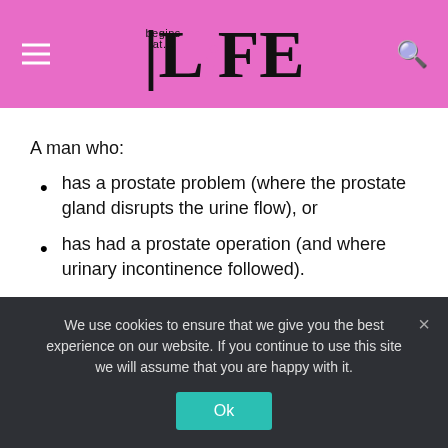Life Begins At - logo header with menu and search icons
A man who:
has a prostate problem (where the prostate gland disrupts the urine flow), or
has had a prostate operation (and where urinary incontinence followed).
The pelvic floor
The pelvic floor is a trampoline-shaped group of muscles and ligaments stretching from our pubic bone to our coccyx and between our sitting bones
We use cookies to ensure that we give you the best experience on our website. If you continue to use this site we will assume that you are happy with it.